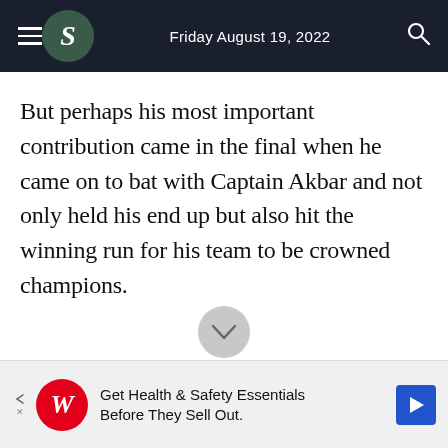Friday August 19, 2022
But perhaps his most important contribution came in the final when he came on to bat with Captain Akbar and not only held his end up but also hit the winning run for his team to be crowned champions.
[Figure (other): Advertisement banner: Walgreens logo with text 'Get Health & Safety Essentials Before They Sell Out.' and a navigation arrow icon]